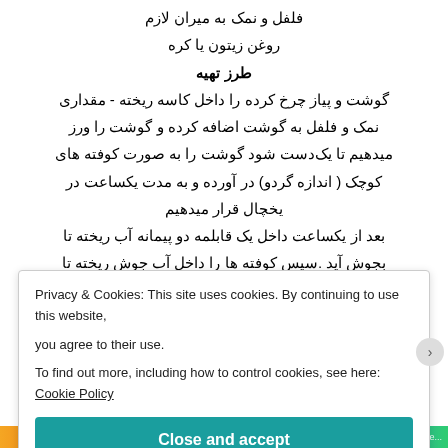فلفل و نمک به میران لازم
روغن زیتون یا کره
طرز تهیه
گوشت و پیاز چرخ کرده را داخل کاسه ریخته - مقداری نمک و فلفل به گوشت اضافه کرده و گوشت را ورز میدهیم تا یک‌دست شود گوشت را به صورت کوفته های کوچک ( اندازه گردو) در آورده و به مدت یکساعت در یخچال قرار میدهیم
بعد از یکساعت داخل یک قابلمه دو پیمانه آب ریخته تا بجوش آید .سپس کوفته ها را داخل آب جوش ریخته تا
Privacy & Cookies: This site uses cookies. By continuing to use this website, you agree to their use.
To find out more, including how to control cookies, see here: Cookie Policy
Close and accept